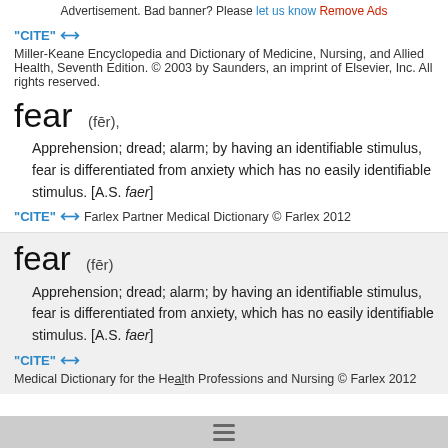Advertisement. Bad banner? Please let us know Remove Ads
"CITE" ↔ Miller-Keane Encyclopedia and Dictionary of Medicine, Nursing, and Allied Health, Seventh Edition. © 2003 by Saunders, an imprint of Elsevier, Inc. All rights reserved.
fear (fēr),
Apprehension; dread; alarm; by having an identifiable stimulus, fear is differentiated from anxiety which has no easily identifiable stimulus. [A.S. faer]
"CITE" ↔ Farlex Partner Medical Dictionary © Farlex 2012
fear (fēr)
Apprehension; dread; alarm; by having an identifiable stimulus, fear is differentiated from anxiety, which has no easily identifiable stimulus. [A.S. faer]
"CITE" ↔ Medical Dictionary for the Health Professions and Nursing © Farlex 2012